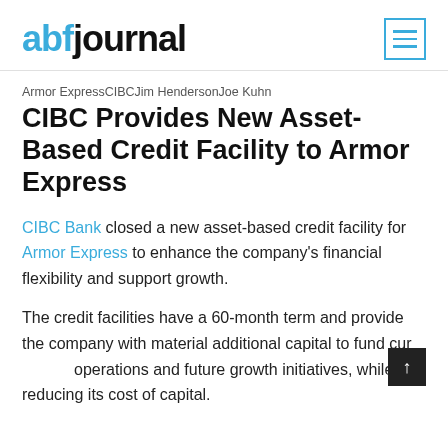abfjournal
Armor ExpressCIBCJim HendersonJoe Kuhn
CIBC Provides New Asset-Based Credit Facility to Armor Express
CIBC Bank closed a new asset-based credit facility for Armor Express to enhance the company's financial flexibility and support growth.
The credit facilities have a 60-month term and provide the company with material additional capital to fund current operations and future growth initiatives, while reducing its cost of capital.